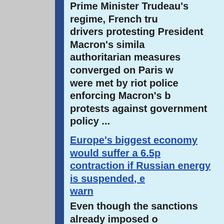Prime Minister Trudeau's regime, French truck drivers protesting President Macron's similar authoritarian measures converged on Paris were met by riot police enforcing Macron's ban on protests against government policy ...
Europe's biggest economy would suffer a 6.5p contraction if Russian energy is suspended, economists warn
Even though the sanctions already imposed on in respondse to the invasion of Ukraine are hitting nations that imposed then harder that their intended target, the EU is preparing to committ economic suicide in an orgy of virtue signalling ...
Sanctions have failed, the Russian rouble is stronger than before the war
Looking at the financial data earlier today I noticed that the Russian rouble is now worth more ...